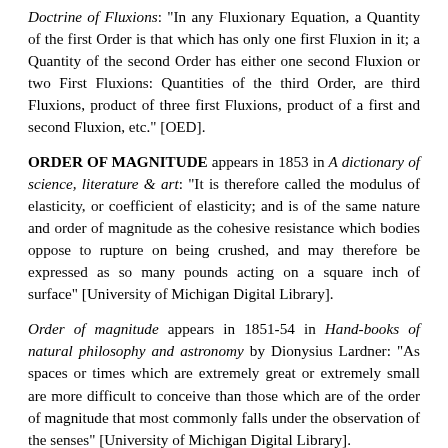Doctrine of Fluxions: "In any Fluxionary Equation, a Quantity of the first Order is that which has only one first Fluxion in it; a Quantity of the second Order has either one second Fluxion or two First Fluxions: Quantities of the third Order, are third Fluxions, product of three first Fluxions, product of a first and second Fluxion, etc." [OED].
ORDER OF MAGNITUDE appears in 1853 in A dictionary of science, literature & art: "It is therefore called the modulus of elasticity, or coefficient of elasticity; and is of the same nature and order of magnitude as the cohesive resistance which bodies oppose to rupture on being crushed, and may therefore be expressed as so many pounds acting on a square inch of surface" [University of Michigan Digital Library].
Order of magnitude appears in 1851-54 in Hand-books of natural philosophy and astronomy by Dionysius Lardner: "As spaces or times which are extremely great or extremely small are more difficult to conceive than those which are of the order of magnitude that most commonly falls under the observation of the senses" [University of Michigan Digital Library].
Order of magnitude appears in March 1857 in I. T. Danson, "Connection between American Slavery and the British Cotton Manufacture." Debow's review. Agricultural, commercial,